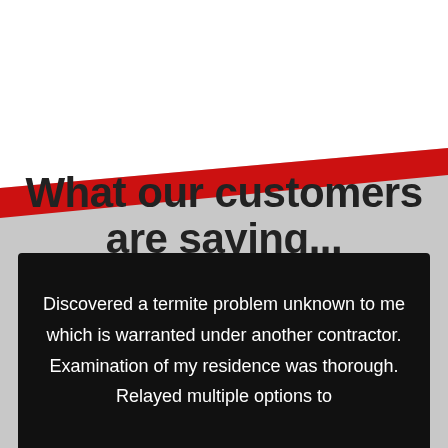What our customers are saying...
Discovered a termite problem unknown to me which is warranted under another contractor. Examination of my residence was thorough. Relayed multiple options to